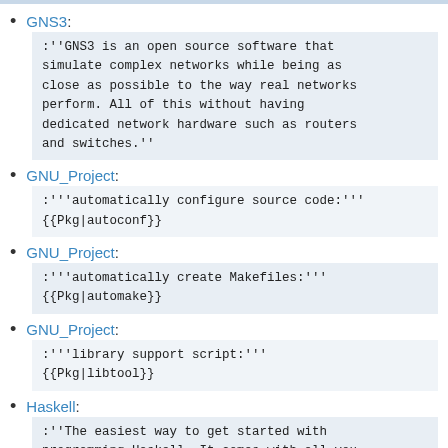GNS3: :''GNS3 is an open source software that simulate complex networks while being as close as possible to the way real networks perform. All of this without having dedicated network hardware such as routers and switches.''
GNU_Project: :'''automatically configure source code:''' {{Pkg|autoconf}}
GNU_Project: :'''automatically create Makefiles:''' {{Pkg|automake}}
GNU_Project: :'''library support script:''' {{Pkg|libtool}}
Haskell: :''The easiest way to get started with programming Haskell. It comes with all you need to get up and running. Think of it as